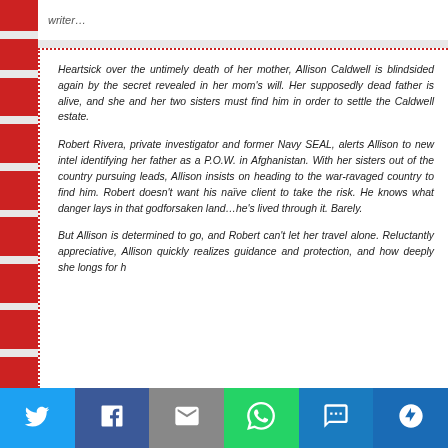writer…
Heartsick over the untimely death of her mother, Allison Caldwell is blindsided again by the secret revealed in her mom's will. Her supposedly dead father is alive, and she and her two sisters must find him in order to settle the Caldwell estate.
Robert Rivera, private investigator and former Navy SEAL, alerts Allison to new intel identifying her father as a P.O.W. in Afghanistan. With her sisters out of the country pursuing leads, Allison insists on heading to the war-ravaged country to find him. Robert doesn't want his naïve client to take the risk. He knows what danger lays in that godforsaken land…he's lived through it. Barely.
But Allison is determined to go, and Robert can't let her travel alone. Reluctantly appreciative, Allison quickly realizes guidance and protection, and how deeply she longs for h